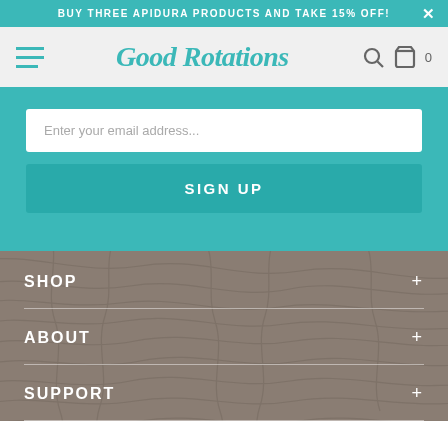BUY THREE APIDURA PRODUCTS AND TAKE 15% OFF!
[Figure (logo): Good Rotations cursive teal logo with hamburger menu on left and search/cart icons on right]
Enter your email address...
SIGN UP
SHOP
ABOUT
SUPPORT